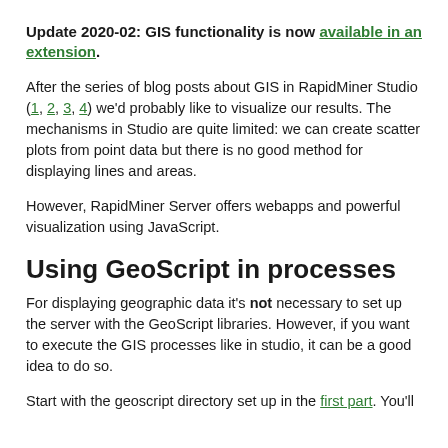Update 2020-02: GIS functionality is now available in an extension.
After the series of blog posts about GIS in RapidMiner Studio (1, 2, 3, 4) we'd probably like to visualize our results. The mechanisms in Studio are quite limited: we can create scatter plots from point data but there is no good method for displaying lines and areas.
However, RapidMiner Server offers webapps and powerful visualization using JavaScript.
Using GeoScript in processes
For displaying geographic data it's not necessary to set up the server with the GeoScript libraries. However, if you want to execute the GIS processes like in studio, it can be a good idea to do so.
Start with the geoscript directory set up in the first part. You'll